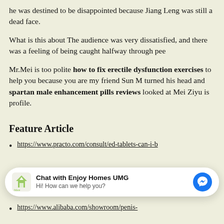he was destined to be disappointed because Jiang Leng was still a dead face.
What is this about The audience was very dissatisfied, and there was a feeling of being caught halfway through pee
Mr.Mei is too polite how to fix erectile dysfunction exercises to help you because you are my friend Sun M turned his head and spartan male enhancement pills reviews looked at Mei Ziyu is profile.
Feature Article
https://www.practo.com/consult/ed-tablets-can-i-b
[Figure (screenshot): Chat widget overlay: 'Chat with Enjoy Homes UMG' with logo and messenger icon]
https://www.alibaba.com/showroom/penis-